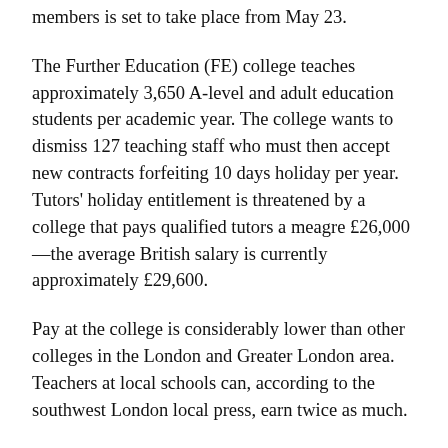members is set to take place from May 23.
The Further Education (FE) college teaches approximately 3,650 A-level and adult education students per academic year. The college wants to dismiss 127 teaching staff who must then accept new contracts forfeiting 10 days holiday per year. Tutors' holiday entitlement is threatened by a college that pays qualified tutors a meagre £26,000—the average British salary is currently approximately £29,600.
Pay at the college is considerably lower than other colleges in the London and Greater London area. Teachers at local schools can, according to the southwest London local press, earn twice as much.
College management started staff consultation on March 8 and extended the 45-day negotiation period by 18 days. But the UCU was unable to extract any concessions it could sell to its membership. On May 10 management